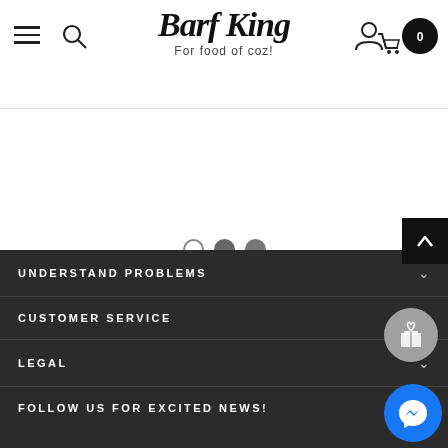Barf King - For food of coz!
[Figure (other): Slider pagination dots: one empty circle, one filled grey circle, one filled grey circle]
UNDERSTAND PROBLEMS
CUSTOMER SERVICE
LEGAL
FOLLOW US FOR EXCITED NEWS!